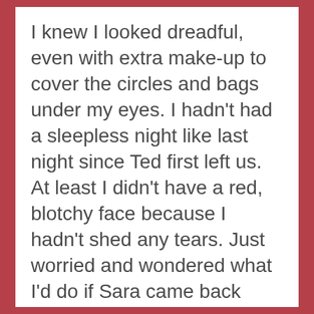I knew I looked dreadful, even with extra make-up to cover the circles and bags under my eyes. I hadn't had a sleepless night like last night since Ted first left us. At least I didn't have a red, blotchy face because I hadn't shed any tears. Just worried and wondered what I'd do if Sara came back crooning about being in love. With Kirk.

It had to be Kirk. She'd